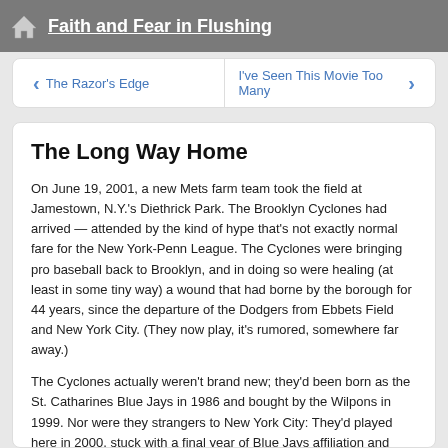Faith and Fear in Flushing
< The Razor's Edge    I've Seen This Movie Too Many >
The Long Way Home
On June 19, 2001, a new Mets farm team took the field at Jamestown, N.Y.'s Diethrick Park. The Brooklyn Cyclones had arrived — attended by the kind of hype that's not exactly normal fare for the New York-Penn League. The Cyclones were bringing pro baseball back to Brooklyn, and in doing so were healing (at least in some tiny way) a wound that had borne by the borough for 44 years, since the departure of the Dodgers from Ebbets Field and New York City. (They now play, it's rumored, somewhere far away.)
The Cyclones actually weren't brand new; they'd been born as the St. Catharines Blue Jays in 1986 and bought by the Wilpons in 1999. Nor were they strangers to New York City: They'd played here in 2000, stuck with a final year of Blue Jays affiliation and burdened with the singularly terrible name Queens Kings. In 2000, in fact, the Mets had ran rather half-hearted ads suggesting fans truck out to St. John's University to attend games played by a Toronto farm team. This worked about as well as you'd expect.